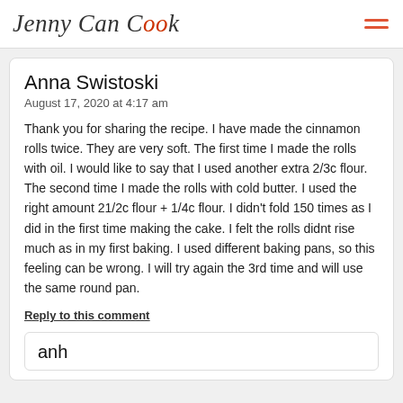Jenny Can Cook
Anna Swistoski
August 17, 2020 at 4:17 am
Thank you for sharing the recipe. I have made the cinnamon rolls twice. They are very soft. The first time I made the rolls with oil. I would like to say that I used another extra 2/3c flour. The second time I made the rolls with cold butter. I used the right amount 21/2c flour + 1/4c flour. I didn't fold 150 times as I did in the first time making the cake. I felt the rolls didnt rise much as in my first baking. I used different baking pans, so this feeling can be wrong. I will try again the 3rd time and will use the same round pan.
Reply to this comment
anh